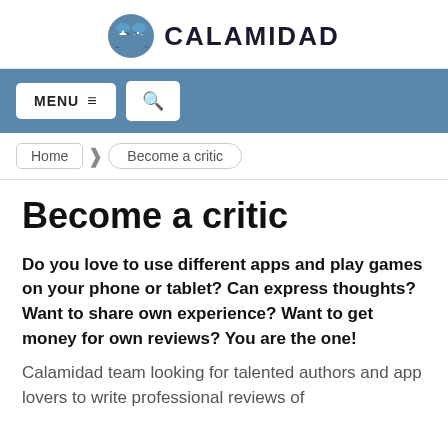[Figure (logo): Calamidad logo: blue game controller icon with mountains, next to bold text CALAMIDAD]
MENU  ≡   🔍
Home  Become a critic
Become a critic
Do you love to use different apps and play games on your phone or tablet? Can express thoughts? Want to share own experience? Want to get money for own reviews? You are the one!
Calamidad team looking for talented authors and app lovers to write professional reviews of